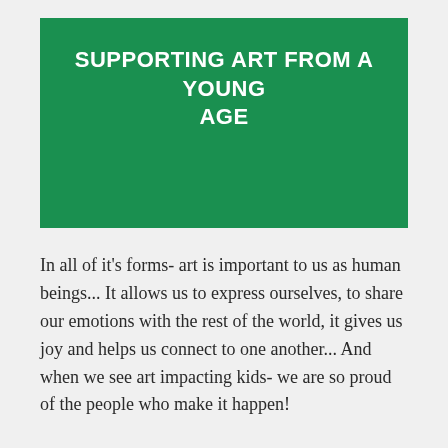SUPPORTING ART FROM A YOUNG AGE
In all of it’s forms- art is important to us as human beings... It allows us to express ourselves, to share our emotions with the rest of the world, it gives us joy and helps us connect to one another... And when we see art impacting kids- we are so proud of the people who make it happen!